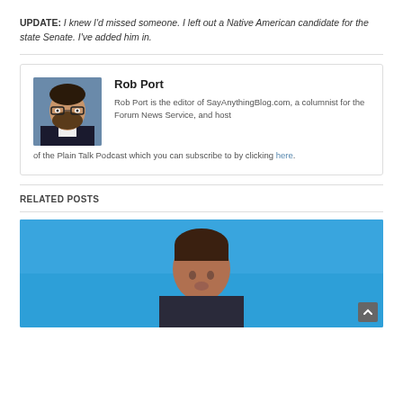UPDATE: I knew I'd missed someone. I left out a Native American candidate for the state Senate. I've added him in.
[Figure (photo): Headshot photo of Rob Port, a man with glasses and a beard wearing a dark suit]
Rob Port
Rob Port is the editor of SayAnythingBlog.com, a columnist for the Forum News Service, and host of the Plain Talk Podcast which you can subscribe to by clicking here.
RELATED POSTS
[Figure (photo): Photo of a young person against a blue background, partially cropped]